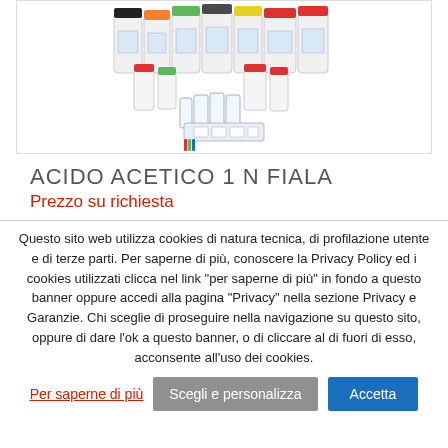[Figure (photo): Collection of laboratory chemical bottles and reagent vials of various sizes and colors arranged together]
ACIDO ACETICO 1 N FIALA
Prezzo su richiesta
Questo sito web utilizza cookies di natura tecnica, di profilazione utente e di terze parti. Per saperne di più, conoscere la Privacy Policy ed i cookies utilizzati clicca nel link "per saperne di più" in fondo a questo banner oppure accedi alla pagina "Privacy" nella sezione Privacy e Garanzie. Chi sceglie di proseguire nella navigazione su questo sito, oppure di dare l'ok a questo banner, o di cliccare al di fuori di esso, acconsente all'uso dei cookies.
Per saperne di più
Scegli e personalizza
Accetta